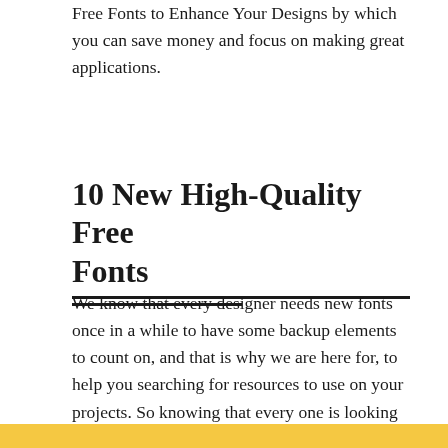Free Fonts to Enhance Your Designs by which you can save money and focus on making great applications.
10 New High-Quality Free Fonts
We know that every designer needs new fonts once in a while to have some backup elements to count on, and that is why we are here for, to help you searching for resources to use on your projects. So knowing that every one is looking around for high quality fonts to spice up their designs we decided to do this new roundup with a collection of some new and fresh fonts to give your projects a whole new look. Enjoy!!
[Figure (other): Yellow bar at the bottom of the page]